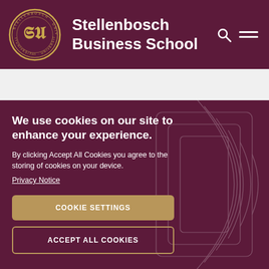[Figure (logo): Stellenbosch University circular seal/crest in gold on dark maroon background]
Stellenbosch Business School
We use cookies on our site to enhance your experience.
By clicking Accept All Cookies you agree to the storing of cookies on your device.
Privacy Notice
COOKIE SETTINGS
ACCEPT ALL COOKIES